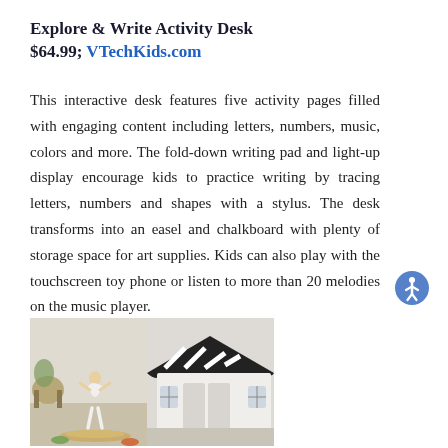Explore & Write Activity Desk
$64.99; VTechKids.com
This interactive desk features five activity pages filled with engaging content including letters, numbers, music, colors and more. The fold-down writing pad and light-up display encourage kids to practice writing by tracing letters, numbers and shapes with a stylus. The desk transforms into an easel and chalkboard with plenty of storage space for art supplies. Kids can also play with the touchscreen toy phone or listen to more than 20 melodies on the music player.
[Figure (photo): Composite photo showing a young child in a white dress playing in a light-filled room on the left, and a black-and-white striped playhouse tent on the right]